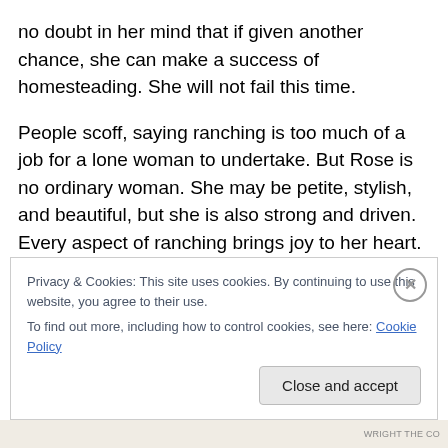no doubt in her mind that if given another chance, she can make a success of homesteading. She will not fail this time.
People scoff, saying ranching is too much of a job for a lone woman to undertake. But Rose is no ordinary woman. She may be petite, stylish, and beautiful, but she is also strong and driven. Every aspect of ranching brings joy to her heart. Then why is she here in Wise River, Montana, taking orders from a mean-spirited school board and attempting something she has no clue how to do?
Privacy & Cookies: This site uses cookies. By continuing to use this website, you agree to their use.
To find out more, including how to control cookies, see here: Cookie Policy
WRIGHT THE CO